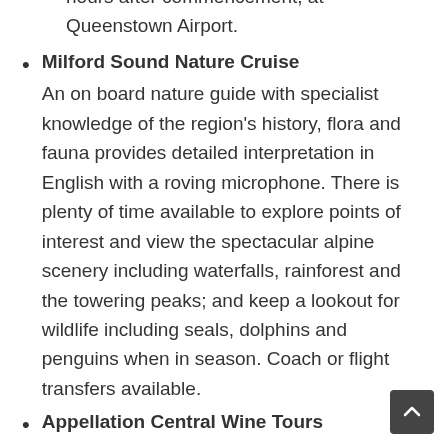hours after commencement, at Queenstown Airport.
Milford Sound Nature Cruise — An on board nature guide with specialist knowledge of the region's history, flora and fauna provides detailed interpretation in English with a roving microphone. There is plenty of time available to explore points of interest and view the spectacular alpine scenery including waterfalls, rainforest and the towering peaks; and keep a lookout for wildlife including seals, dolphins and penguins when in season. Coach or flight transfers available.
Appellation Central Wine Tours — Appellation Central offers specialist...